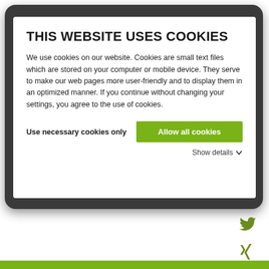THIS WEBSITE USES COOKIES
We use cookies on our website. Cookies are small text files which are stored on your computer or mobile device. They serve to make our web pages more user-friendly and to display them in an optimized manner. If you continue without changing your settings, you agree to the use of cookies.
Use necessary cookies only
Allow all cookies
Show details
[Figure (logo): Twitter bird icon in olive/green color]
[Figure (logo): Xing icon in olive/green color]
[Figure (logo): LinkedIn 'in' icon in olive/green color]